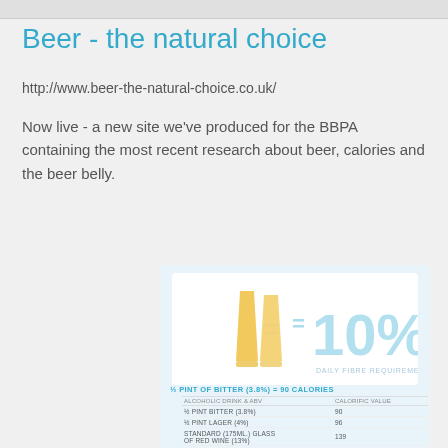Beer - the natural choice
http://www.beer-the-natural-choice.co.uk/
Now live - a new site we've produced for the BBPA containing the most recent research about beer, calories and the beer belly.
[Figure (infographic): Infographic card showing two beer glasses = 10% Daily Fibre Requirement, with a table: ½ Pint of Bitter (3.8%) = 90 Calories. Table rows: Alcoholic Drink & ABV / Calorific Value: ½ Pint Bitter (3.8%) = 90, ½ Pint Lager (4%) = 96, Standard (175ml.) Glass of Red Wine (13%) = 139]